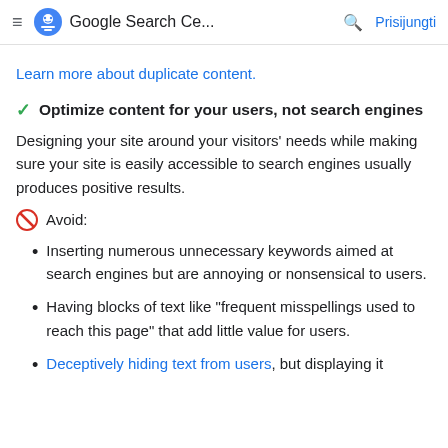Google Search Ce... Prisijungti
Learn more about duplicate content.
✓ Optimize content for your users, not search engines
Designing your site around your visitors' needs while making sure your site is easily accessible to search engines usually produces positive results.
🚫 Avoid:
Inserting numerous unnecessary keywords aimed at search engines but are annoying or nonsensical to users.
Having blocks of text like "frequent misspellings used to reach this page" that add little value for users.
Deceptively hiding text from users, but displaying it